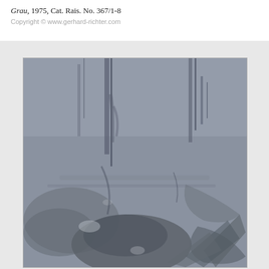Grau, 1975, Cat. Rais. No. 367/1-8
Copyright © www.gerhard-richter.com
[Figure (photo): Abstract grey painting by Gerhard Richter titled Grau (Grey), 1975, showing thick gestural brushstrokes in various shades of grey creating swirling and vertical paint marks across the canvas surface.]